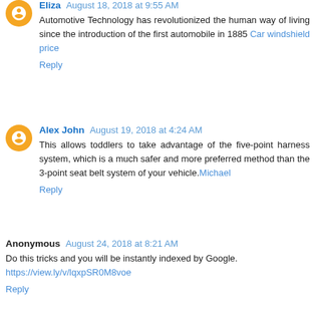Eliza August 18, 2018 at 9:55 AM
Automotive Technology has revolutionized the human way of living since the introduction of the first automobile in 1885 Car windshield price
Reply
Alex John August 19, 2018 at 4:24 AM
This allows toddlers to take advantage of the five-point harness system, which is a much safer and more preferred method than the 3-point seat belt system of your vehicle.Michael
Reply
Anonymous August 24, 2018 at 8:21 AM
Do this tricks and you will be instantly indexed by Google.
https://view.ly/v/lqxpSR0M8voe
Reply